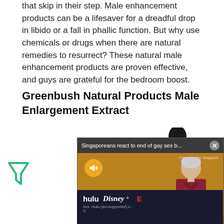that skip in their step. Male enhancement products can be a lifesaver for a dreadful drop in libido or a fall in phallic function. But why use chemicals or drugs when there are natural remedies to resurrect? These natural male enhancement products are proven effective, and guys are grateful for the bedroom boost.
Greenbush Natural Products Male Enlargement Extract
[Figure (photo): A dark glass dropper bottle product photo (partially visible)]
[Figure (screenshot): Video overlay: 'Singaporeans react to end of gay sex b...' with an X close button, showing a man in a red shirt speaking at a podium with a mute button icon in the corner. Label: Prime Minister Singapore]
[Figure (logo): Hulu Disney+ ESPN ad banner with text 'Incl. Hulu (ad-supported) c...']
[Figure (logo): Frosmo logo - green triangle/arrow icon]